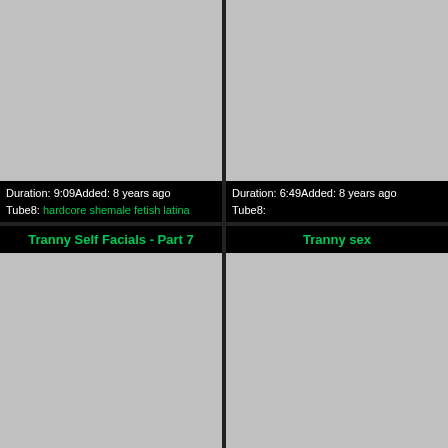[Figure (screenshot): Gray thumbnail placeholder for video, top-left cell]
Duration: 9:09Added: 8 years ago
Tube8: hardcore shemale fetish latina
[Figure (screenshot): Gray thumbnail placeholder for video, top-right cell]
Duration: 6:49Added: 8 years ago
Tube8:
Tranny Self Facials - Part 7
[Figure (screenshot): Gray thumbnail placeholder for video, bottom-left cell]
Tranny sex
[Figure (screenshot): Gray thumbnail placeholder for video, bottom-right cell]